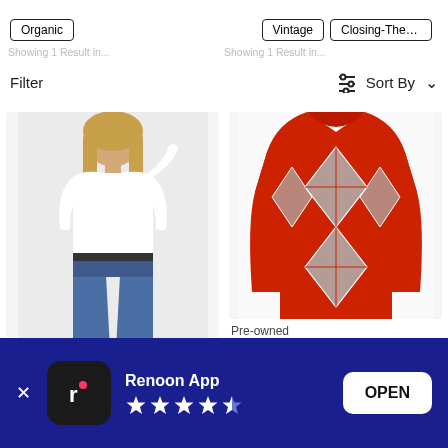[Figure (screenshot): Mobile app screenshot of a fashion/clothing browsing interface (Renoon App) showing filter tags 'Organic', 'Vintage', 'Closing-The-Lo', a Filter and Sort By bar, two product images (woman in white t-shirt and jeans, red argyle sweater labeled Pre-owned), and an app download banner at the bottom with Renoon App name, 4.5 star rating, and OPEN button.]